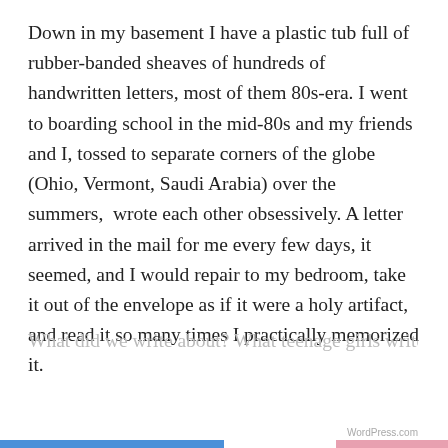Down in my basement I have a plastic tub full of rubber-banded sheaves of hundreds of handwritten letters, most of them 80s-era. I went to boarding school in the mid-80s and my friends and I, tossed to separate corners of the globe (Ohio, Vermont, Saudi Arabia) over the summers,  wrote each other obsessively. A letter arrived in the mail for me every few days, it seemed, and I would repair to my bedroom, take it out of the envelope as if it were a holy artifact, and read it so many times I practically memorized it.
Privacy & Cookies: This site uses cookies. By continuing to use this website, you agree to their use.
To find out more, including how to control cookies, see here: Cookie Policy